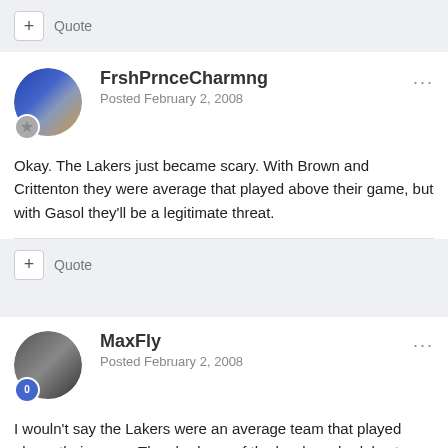+ Quote
FrshPrnceCharmng
Posted February 2, 2008
Okay. The Lakers just became scary. With Brown and Crittenton they were average that played above their game, but with Gasol they'll be a legitimate threat.
+ Quote
MaxFly
Posted February 2, 2008
I wouln't say the Lakers were an average team that played above their game. They had one of the harder schedules to start the season and yet managed to do pretty well... Top 3 or so record